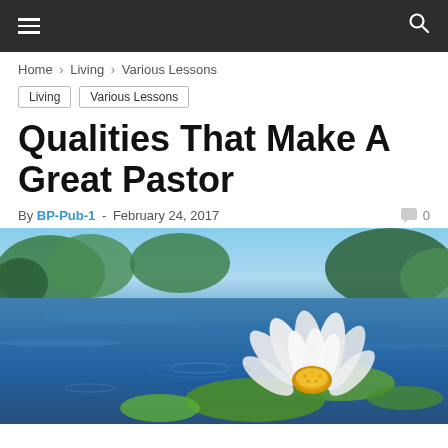≡  🔍
Home › Living › Various Lessons
Living   Various Lessons
Qualities That Make A Great Pastor
By BP-Pub-1 - February 24, 2017  💬 0
[Figure (photo): A white lotus flower in bloom on a lily pad, floating on a blue water surface with green trees in the background]